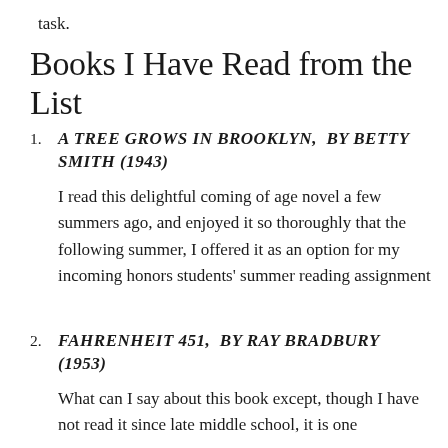task.
Books I Have Read from the List
A TREE GROWS IN BROOKLYN, BY BETTY SMITH (1943)

I read this delightful coming of age novel a few summers ago, and enjoyed it so thoroughly that the following summer, I offered it as an option for my incoming honors students' summer reading assignment
FAHRENHEIT 451, BY RAY BRADBURY (1953)

What can I say about this book except, though I have not read it since late middle school, it is one